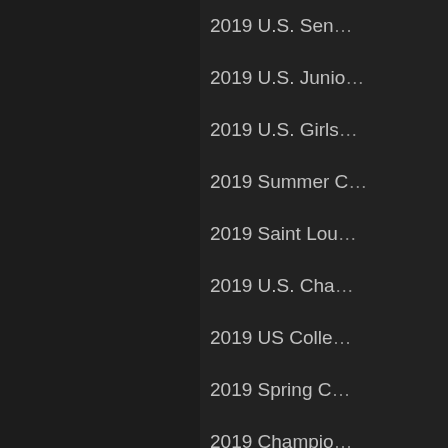2019 U.S. Sen…
2019 U.S. Junio…
2019 U.S. Girls…
2019 Summer C…
2019 Saint Lou…
2019 U.S. Cha…
2019 US Colle…
2019 Spring C…
2019 Champio…
2019 Cairns C…
2018 TiC: Wo…
2018 Saint Lou…